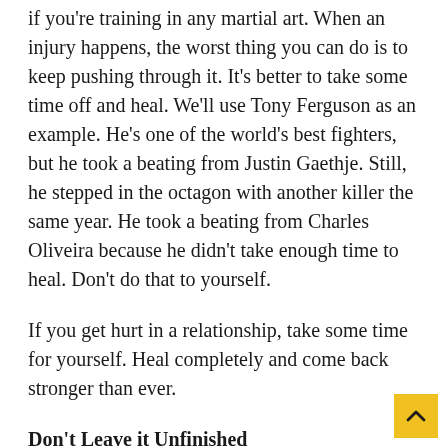if you're training in any martial art. When an injury happens, the worst thing you can do is to keep pushing through it. It's better to take some time off and heal. We'll use Tony Ferguson as an example. He's one of the world's best fighters, but he took a beating from Justin Gaethje. Still, he stepped in the octagon with another killer the same year. He took a beating from Charles Oliveira because he didn't take enough time to heal. Don't do that to yourself.
If you get hurt in a relationship, take some time for yourself. Heal completely and come back stronger than ever.
Don't Leave it Unfinished
One more famous rule – never leave it in the hands o